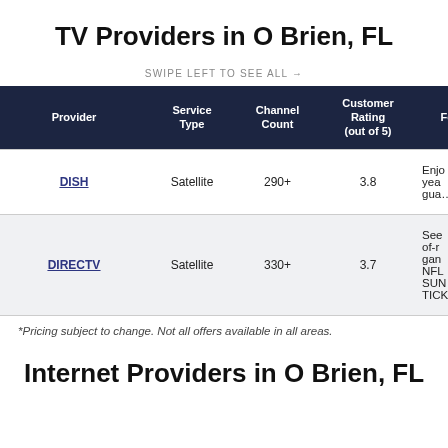TV Providers in O Brien, FL
SWIPE LEFT TO SEE ALL →
| Provider | Service Type | Channel Count | Customer Rating (out of 5) | Fe... |
| --- | --- | --- | --- | --- |
| DISH | Satellite | 290+ | 3.8 | Enjo... yea... gua... |
| DIRECTV | Satellite | 330+ | 3.7 | See... of-r... gan... NFL... SUN... TICK... |
*Pricing subject to change. Not all offers available in all areas.
Internet Providers in O Brien, FL